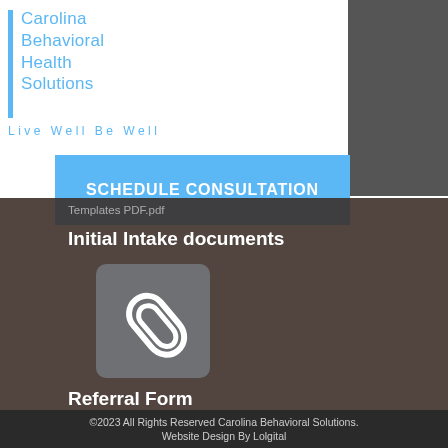[Figure (logo): Carolina Behavioral Health Solutions logo with blue vertical bar and blue text, tagline 'Live Well Be Well']
[Figure (other): Hamburger menu icon (three horizontal lines)]
SCHEDULE CONSULTATION
Templates PDF.pdf
Initial Intake documents
[Figure (other): Paperclip attachment icon on grey rounded rectangle button]
Referral Form
©2023 All Rights Reserved Carolina Behavioral Solutions. Website Design By Lolgital